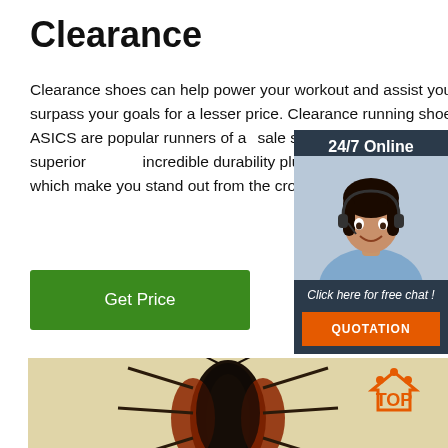Clearance
Clearance shoes can help power your workout and assist your work to surpass your goals for a lesser price. Clearance running shoes by ASICS are popular runners of all. The sale shoes have a global reputation for superior quality, incredible durability plus iconic style and design that which make you stand out from the crowd.
[Figure (other): Green 'Get Price' button]
[Figure (other): Chat widget with '24/7 Online' header, female agent with headset, 'Click here for free chat!' text, and orange QUOTATION button]
[Figure (photo): Close-up photo of a cockroach from above, showing dark body and red-brown legs on a cream/beige background]
[Figure (logo): Orange TOP badge/logo with dots arranged in arc above the word TOP]